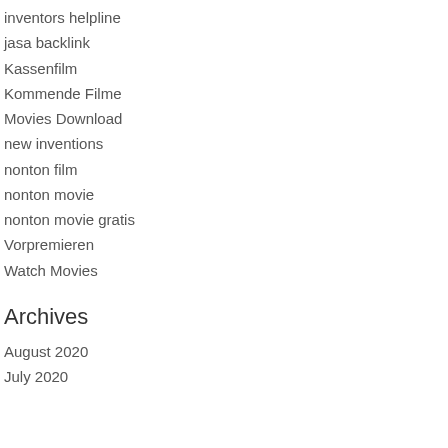inventors helpline
jasa backlink
Kassenfilm
Kommende Filme
Movies Download
new inventions
nonton film
nonton movie
nonton movie gratis
Vorpremieren
Watch Movies
Archives
August 2020
July 2020